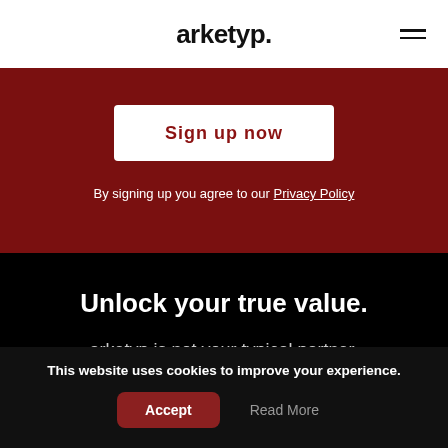arketyp.
[Figure (screenshot): Sign up now button (partially visible, white button with dark red text on dark red background)]
By signing up you agree to our Privacy Policy
Unlock your true value.
arketyp is not your typical partner.
If you'd like to explore how to unlock
This website uses cookies to improve your experience.
Accept   Read More